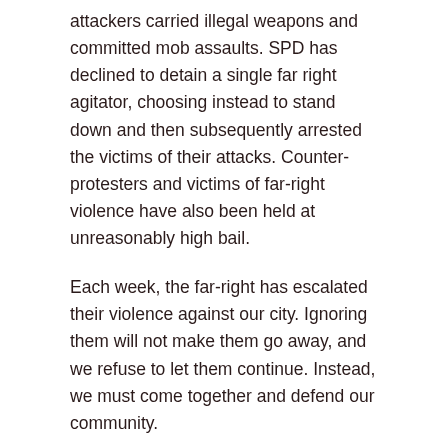attackers carried illegal weapons and committed mob assaults. SPD has declined to detain a single far right agitator, choosing instead to stand down and then subsequently arrested the victims of their attacks. Counter-protesters and victims of far-right violence have also been held at unreasonably high bail.
Each week, the far-right has escalated their violence against our city. Ignoring them will not make them go away, and we refuse to let them continue. Instead, we must come together and defend our community.
We are calling on all individuals and organizations to join us in taking a united stand against far-right extremism and organized terror.
Points of Unity
1. Stand against white supremacy, hatred, bigotry, and